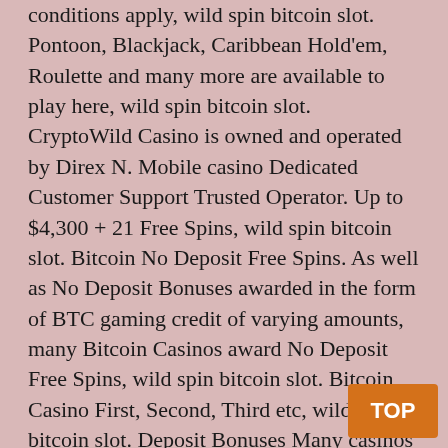conditions apply, wild spin bitcoin slot. Pontoon, Blackjack, Caribbean Hold'em, Roulette and many more are available to play here, wild spin bitcoin slot. CryptoWild Casino is owned and operated by Direx N. Mobile casino Dedicated Customer Support Trusted Operator. Up to $4,300 + 21 Free Spins, wild spin bitcoin slot. Bitcoin No Deposit Free Spins. As well as No Deposit Bonuses awarded in the form of BTC gaming credit of varying amounts, many Bitcoin Casinos award No Deposit Free Spins, wild spin bitcoin slot. Bitcoin Casino First, Second, Third etc, wild spin bitcoin slot. Deposit Bonuses Many casinos offer also a second, third, fourth deposit bonuses which can differ from each other. Wagering and terms and conditions apply, wild spin bitcoin slot. Yoju: 25 Free Spins No Deposit Bitcoin Casino! However, if no cash balance is available, the bet placed will be deducted from the player's bonus balance. Any bonus can ' BitcoinCasino US Review & No Deposit Bonus Codes 2020, wild spin bitcoin slot. The more money a player is willing to risk depositing with Bitcoin the higher
[Figure (other): Orange button with white text 'TOP' in bottom-right corner]